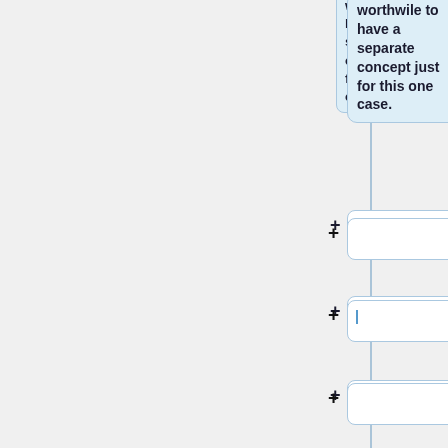worthwile to have a separate concept just for this one case.
(empty card)
(empty card with cursor)
(empty card)
Lloyd joins the meeting for his input.
(empty card)
Motion is prepared for next meeting.
(empty card)
==Thursday Q3==